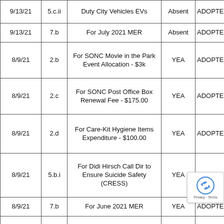| Date | Item | Description | Vote | Result |
| --- | --- | --- | --- | --- |
| 9/13/21 | 5.c.ii | Duty City Vehicles EVs | Absent | ADOPT... |
| 9/13/21 | 7.b | For July 2021 MER | Absent | ADOPTE... |
| 8/9/21 | 2.b | For SONC Movie in the Park Event Allocation - $3k | YEA | ADOPTE... |
| 8/9/21 | 2.c | For SONC Post Office Box Renewal Fee - $175.00 | YEA | ADOPTE... |
| 8/9/21 | 2.d | For Care-Kit Hygiene Items Expenditure - $100.00 | YEA | ADOPTE... |
| 8/9/21 | 5.b.i | For Didi Hirsch Call Dir to Ensure Suicide Safety (CRESS) | YEA | ADOPTE... |
| 8/9/21 | 7.b | For June 2021 MER | YEA | ADOPTE... |
| 7/12/21 | 2.b | For Affirmation of Youth Representative | YEA | ADO... |
|  |  | Election of Officers: |  |  |